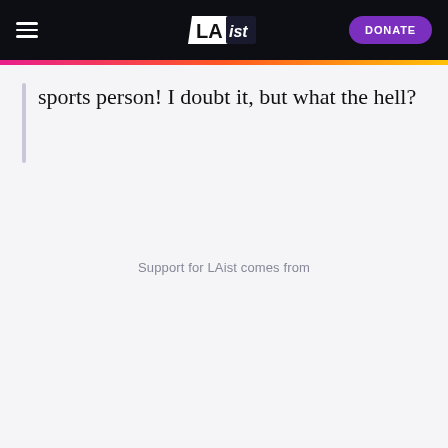LAist — DONATE
sports person! I doubt it, but what the hell?
Support for LAist comes from